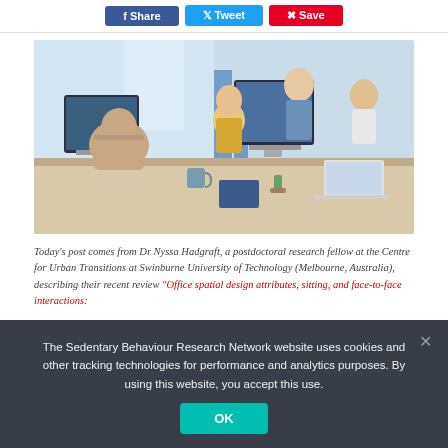[Figure (other): Three social share buttons: Facebook (blue), Twitter (light blue), Pinterest (red)]
[Figure (photo): Office scene with people working at desks with computers and laptops, collaborating in a modern open-plan workspace]
Today's post comes from Dr Nyssa Hadgraft, a postdoctoral research fellow at the Centre for Urban Transitions at Swinburne University of Technology (Melbourne, Australia), describing their recent review "Office spatial design attributes, sitting, and face-to-face interactions:
The Sedentary Behaviour Research Network website uses cookies and other tracking technologies for performance and analytics purposes. By using this website, you accept this use.